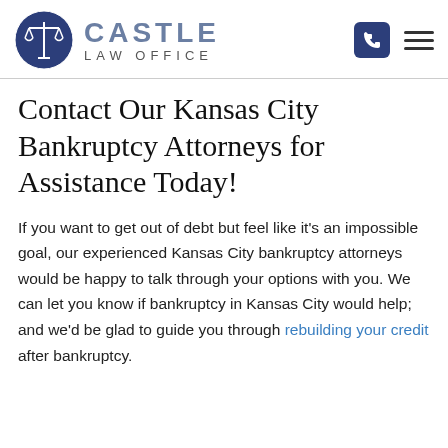Castle Law Office
Contact Our Kansas City Bankruptcy Attorneys for Assistance Today!
If you want to get out of debt but feel like it's an impossible goal, our experienced Kansas City bankruptcy attorneys would be happy to talk through your options with you. We can let you know if bankruptcy in Kansas City would help; and we'd be glad to guide you through rebuilding your credit after bankruptcy.